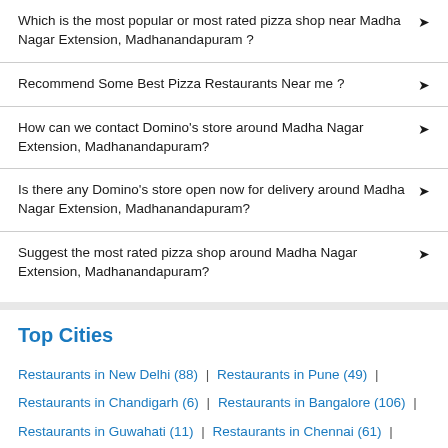Which is the most popular or most rated pizza shop near Madha Nagar Extension, Madhanandapuram ?
Recommend Some Best Pizza Restaurants Near me ?
How can we contact Domino's store around Madha Nagar Extension, Madhanandapuram?
Is there any Domino's store open now for delivery around Madha Nagar Extension, Madhanandapuram?
Suggest the most rated pizza shop around Madha Nagar Extension, Madhanandapuram?
Top Cities
Restaurants in New Delhi (88) | Restaurants in Pune (49) | Restaurants in Chandigarh (6) | Restaurants in Bangalore (106) | Restaurants in Guwahati (11) | Restaurants in Chennai (61) | Restaurants in Faridabad (10) | Restaurants in Ahmedabad (27) | Restaurants in Amritsar (6) | Restaurants in Goa (14) | Restaurants in Dehradun (6) | Restaurants in Noida (17) | Restaurants in Vadodara (11) | Restaurants in Ghaziabad